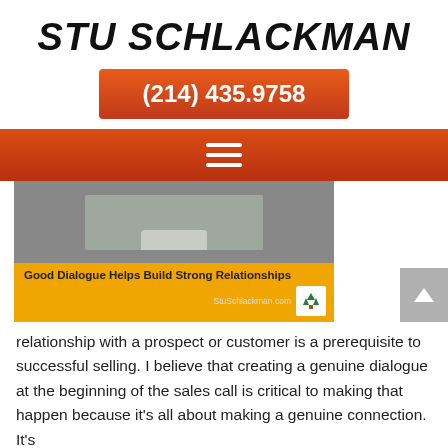STU SCHLACKMAN
(214) 435.9758
[Figure (other): Hamburger menu navigation bar with orange-red gradient background and three white horizontal lines icon]
[Figure (other): Book cover image on yellow/orange background with gray book cover showing a tab shape, caption reads: Good Dialogue Helps Build Strong Relationships, with StuSchlackman.com text and tree logo]
relationship with a prospect or customer is a prerequisite to successful selling. I believe that creating a genuine dialogue at the beginning of the sales call is critical to making that happen because it's all about making a genuine connection. It's